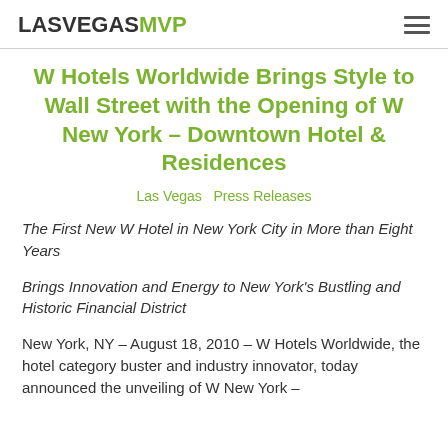LASVEGAS MVP
W Hotels Worldwide Brings Style to Wall Street with the Opening of W New York – Downtown Hotel & Residences
Las Vegas  Press Releases
The First New W Hotel in New York City in More than Eight Years
Brings Innovation and Energy to New York's Bustling and Historic Financial District
New York, NY – August 18, 2010 – W Hotels Worldwide, the hotel category buster and industry innovator, today announced the unveiling of W New York –